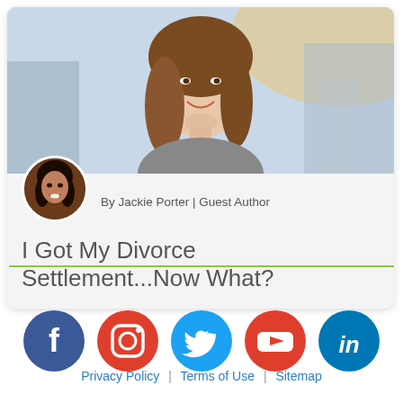[Figure (photo): Hero image of a smiling woman with long brown hair, background blurred street scene]
By Jackie Porter | Guest Author
I Got My Divorce Settlement...Now What?
[Figure (infographic): Social media icons row: Facebook, Instagram, Twitter, YouTube, LinkedIn]
Privacy Policy | Terms of Use | Sitemap